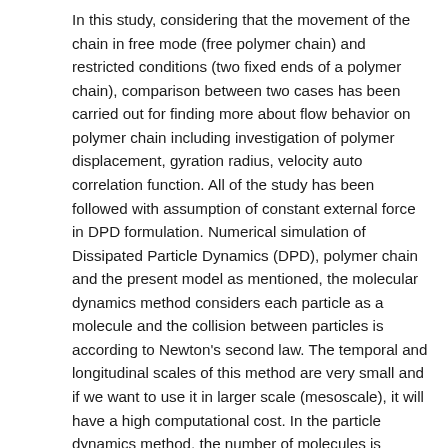In this study, considering that the movement of the chain in free mode (free polymer chain) and restricted conditions (two fixed ends of a polymer chain), comparison between two cases has been carried out for finding more about flow behavior on polymer chain including investigation of polymer displacement, gyration radius, velocity auto correlation function. All of the study has been followed with assumption of constant external force in DPD formulation. Numerical simulation of Dissipated Particle Dynamics (DPD), polymer chain and the present model as mentioned, the molecular dynamics method considers each particle as a molecule and the collision between particles is according to Newton's second law. The temporal and longitudinal scales of this method are very small and if we want to use it in larger scale (mesoscale), it will have a high computational cost. In the particle dynamics method, the number of molecules is considered as a particle. The mesoscopic method is a coarse-grained method in which each particle with mass of m_i represents a large number of molecules. The relationship between velocity (v→_i), position (r→_i) and force between particles, like the